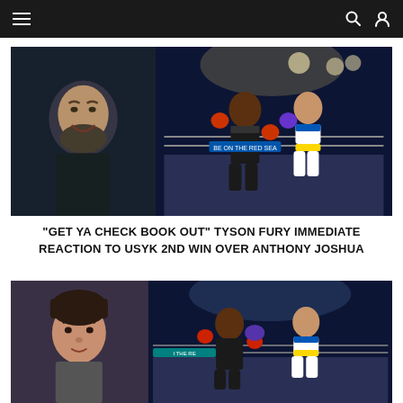Sports news website navigation bar
[Figure (photo): Split image: left panel shows Tyson Fury smiling in a dark setting (video call screenshot); right panel shows Anthony Joshua vs Oleksandr Usyk boxing match in the ring with arena lighting and Ukrainian flag colours on Usyk's shorts]
“GET YA CHECK BOOK OUT” TYSON FURY IMMEDIATE REACTION TO USYK 2ND WIN OVER ANTHONY JOSHUA
[Figure (photo): Split image: left panel shows a man with dark hair (commentator or pundit); right panel shows Anthony Joshua vs Oleksandr Usyk boxing match with Usyk landing a punch]